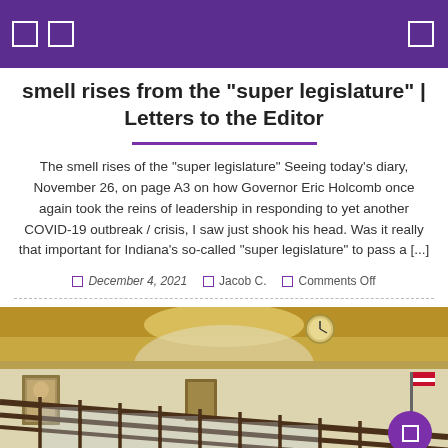smell rises from the "super legislature" | Letters to the Editor
The smell rises of the "super legislature" Seeing today's diary, November 26, on page A3 on how Governor Eric Holcomb once again took the reins of leadership in responding to yet another COVID-19 outbreak / crisis, I saw just shook his head. Was it really that important for Indiana's so-called "super legislature" to pass a [...]
December 4, 2021   Jacob C.   Comments Off
[Figure (photo): Interior photo of what appears to be a government building or statehouse, showing ornate ceiling with arch, wood railings/barriers, portraits on the wall, and warm interior lighting.]